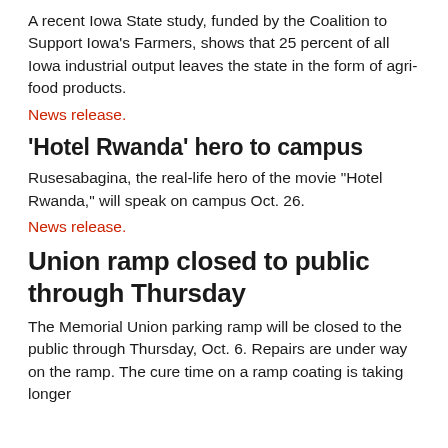A recent Iowa State study, funded by the Coalition to Support Iowa's Farmers, shows that 25 percent of all Iowa industrial output leaves the state in the form of agri-food products.
News release.
'Hotel Rwanda' hero to campus
Rusesabagina, the real-life hero of the movie "Hotel Rwanda," will speak on campus Oct. 26.
News release.
Union ramp closed to public through Thursday
The Memorial Union parking ramp will be closed to the public through Thursday, Oct. 6. Repairs are under way on the ramp. The cure time on a ramp coating is taking longer th...